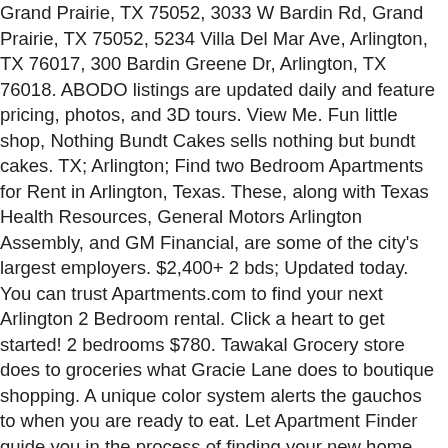Grand Prairie, TX 75052, 3033 W Bardin Rd, Grand Prairie, TX 75052, 5234 Villa Del Mar Ave, Arlington, TX 76017, 300 Bardin Greene Dr, Arlington, TX 76018. ABODO listings are updated daily and feature pricing, photos, and 3D tours. View Me. Fun little shop, Nothing Bundt Cakes sells nothing but bundt cakes. TX; Arlington; Find two Bedroom Apartments for Rent in Arlington, Texas. These, along with Texas Health Resources, General Motors Arlington Assembly, and GM Financial, are some of the city's largest employers. $2,400+ 2 bds; Updated today. You can trust Apartments.com to find your next Arlington 2 Bedroom rental. Click a heart to get started! 2 bedrooms $780. Tawakal Grocery store does to groceries what Gracie Lane does to boutique shopping. A unique color system alerts the gauchos to when you are ready to eat. Let Apartment Finder guide you in the process of finding your new home and getting a great deal! If you are looking for 2 bedroom apartments arlington tx you've come to the right place. TX;